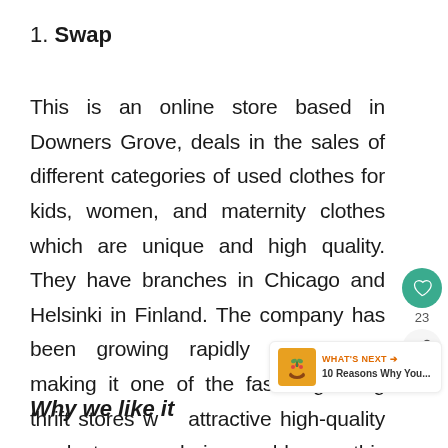1. Swap
This is an online store based in Downers Grove, deals in the sales of different categories of used clothes for kids, women, and maternity clothes which are unique and high quality. They have branches in Chicago and Helsinki in Finland. The company has been growing rapidly since 2013 making it one of the fastest-growing thrift stores w attractive high-quality products are being sold on this platform
Why we like it